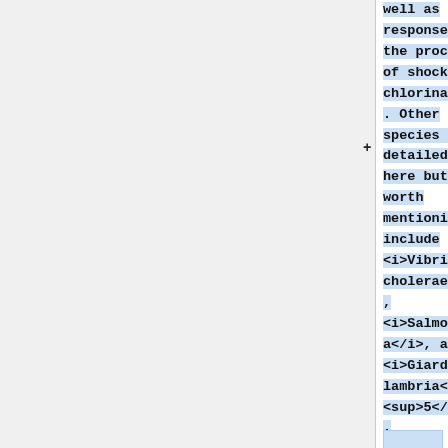well as response to the process of shock chlorination. Other species not detailed here but worth mentioning include <i>Vibrio cholerae</i>, <i>Salmonella</i>, and <i>Giardia lambria</i><sup>5</sup>.